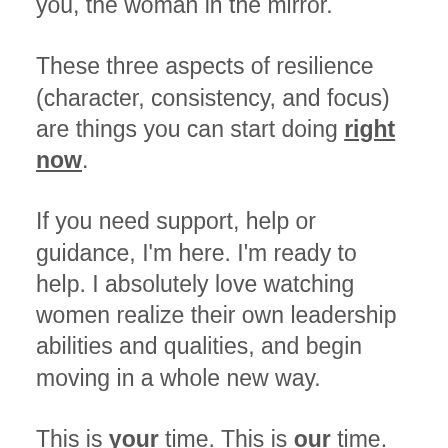you, the woman in the mirror.
These three aspects of resilience (character, consistency, and focus) are things you can start doing right now.
If you need support, help or guidance, I'm here. I'm ready to help. I absolutely love watching women realize their own leadership abilities and qualities, and begin moving in a whole new way.
This is your time. This is our time. Let's build up resilient leaders to carry us well into the future.